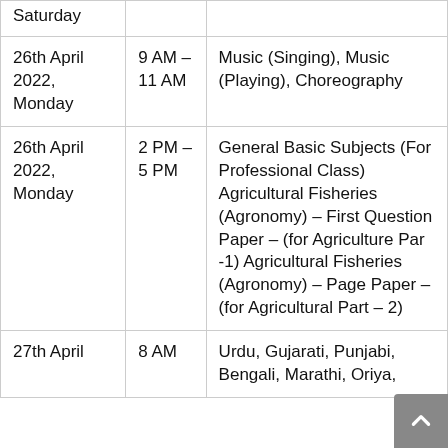| Date | Time | Subject |
| --- | --- | --- |
| Saturday |  |  |
| 26th April 2022, Monday | 9 AM – 11 AM | Music (Singing), Music (Playing), Choreography |
| 26th April 2022, Monday | 2 PM – 5 PM | General Basic Subjects (For Professional Class) Agricultural Fisheries (Agronomy) – First Question Paper – (for Agriculture Par -1) Agricultural Fisheries (Agronomy) – Page Paper – (for Agricultural Part – 2) |
| 27th April | 8 AM | Urdu, Gujarati, Punjabi, Bengali, Marathi, Oriya, |